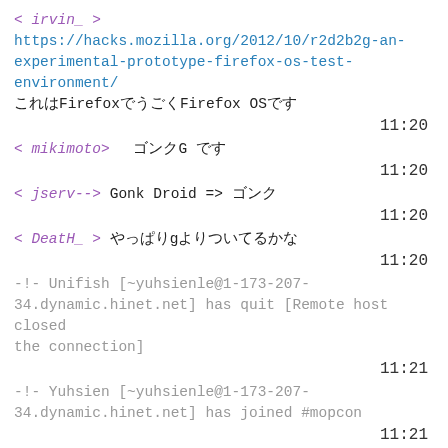< irvin_ > https://hacks.mozilla.org/2012/10/r2d2b2g-an-experimental-prototype-firefox-os-test-environment/ これはFirefoxでうごくFirefox OSです
11:20
< mikimoto>  ゴンクG です
11:20
< jserv-->  Gonk Droid => ゴンク
11:20
< DeatH_ >  やっぱりgよりついてるかな
11:20
-!- Unifish [~yuhsienle@1-173-207-34.dynamic.hinet.net] has quit [Remote host closed the connection]
11:21
-!- Yuhsien [~yuhsienle@1-173-207-34.dynamic.hinet.net] has joined #mopcon
11:21